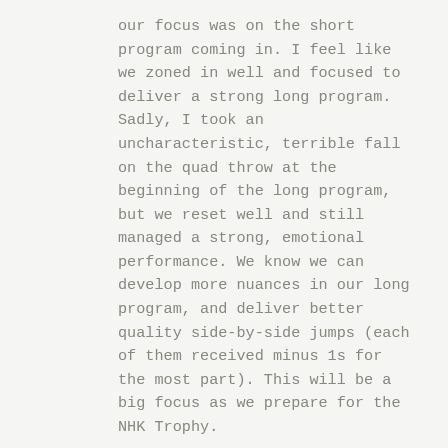our focus was on the short program coming in. I feel like we zoned in well and focused to deliver a strong long program. Sadly, I took an uncharacteristic, terrible fall on the quad throw at the beginning of the long program, but we reset well and still managed a strong, emotional performance. We know we can develop more nuances in our long program, and deliver better quality side-by-side jumps (each of them received minus 1s for the most part). This will be a big focus as we prepare for the NHK Trophy.
It was announced that next year Skate Canada International will go back west, to Regina, Saskatchewan. I have no doubt that Regina will do an incredible job organizing this event, and that the hard-core skating fans (I'm one of them!!!), and local individuals